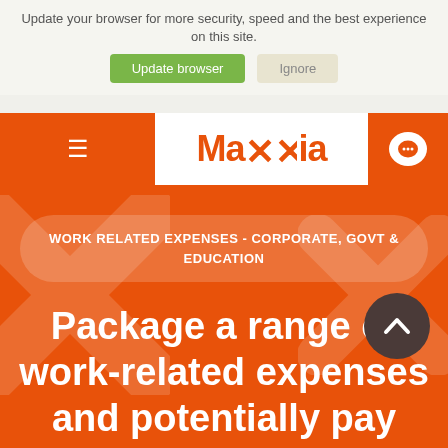Update your browser for more security, speed and the best experience on this site.
Update browser   Ignore
[Figure (logo): Maxxia company logo in orange text on white background]
WORK RELATED EXPENSES - CORPORATE, GOVT & EDUCATION
Package a range of work-related expenses and potentially pay